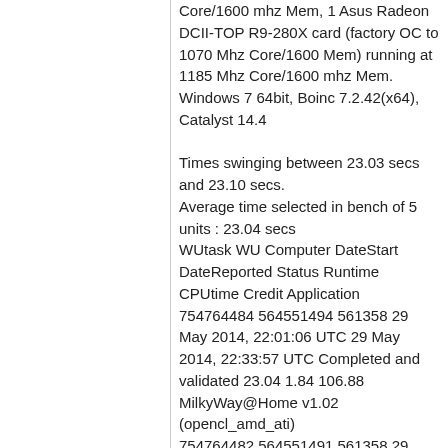Core/1600 mhz Mem, 1 Asus Radeon DCII-TOP R9-280X card (factory OC to 1070 Mhz Core/1600 Mem) running at 1185 Mhz Core/1600 mhz Mem.
Windows 7 64bit, Boinc 7.2.42(x64), Catalyst 14.4

Times swinging between 23.03 secs and 23.10 secs.
Average time selected in bench of 5 units : 23.04 secs
WUtask WU Computer DateStart DateReported Status Runtime CPUtime Credit Application
754764484 564551494 561358 29 May 2014, 22:01:06 UTC 29 May 2014, 22:33:57 UTC Completed and validated 23.04 1.84 106.88 MilkyWay@Home v1.02 (opencl_amd_ati)
754764482 564551491 561358 29 May 2014, 22:01:06 UTC 29 May